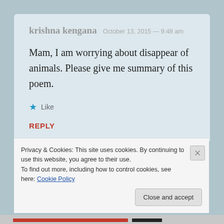krishna kengana  October 13, 2015 — 9:48 am
Mam, I am worrying about disappear of animals. Please give me summary of this poem.
★ Like
REPLY
Privacy & Cookies: This site uses cookies. By continuing to use this website, you agree to their use. To find out more, including how to control cookies, see here: Cookie Policy
Close and accept